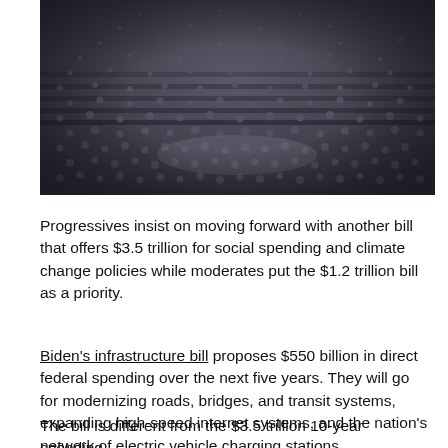[Figure (photo): Aerial view of a packed legislative chamber or congressional hall filled with many people seated and standing.]
Progressives insist on moving forward with another bill that offers $3.5 trillion for social spending and climate change policies while moderates put the $1.2 trillion bill as a priority.
Biden's infrastructure bill proposes $550 billion in direct federal spending over the next five years. They will go for modernizing roads, bridges, and transit systems, expanding high-speed internet systems, and the nation's network of electric vehicle charging stations.
The bill is different from the $3.5 trillion 10-year spending